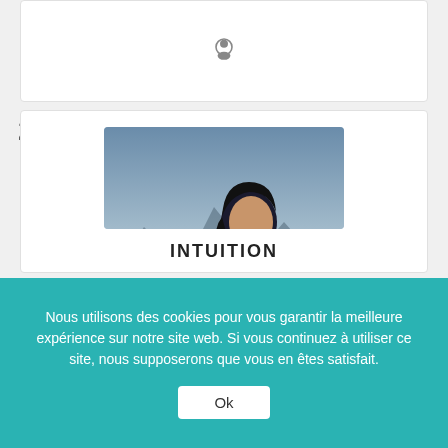[Figure (other): Top section of a music chart webpage showing a grey card with a search/profile icon]
22
[Figure (other): Teal circular badge with an upward arrow indicating chart position movement]
[Figure (other): Album cover for 'INTUITION' by Gautier Capuçon showing the artist holding a cello against a dramatic sky background, with Erato label logo]
INTUITION
Nous utilisons des cookies pour vous garantir la meilleure expérience sur notre site web. Si vous continuez à utiliser ce site, nous supposerons que vous en êtes satisfait.